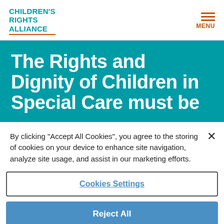CHILDREN'S RIGHTS ALLIANCE
The Rights and Dignity of Children in Special Care must be
By clicking “Accept All Cookies”, you agree to the storing of cookies on your device to enhance site navigation, analyze site usage, and assist in our marketing efforts.
Cookies Settings
Reject All
Accept All Cookies